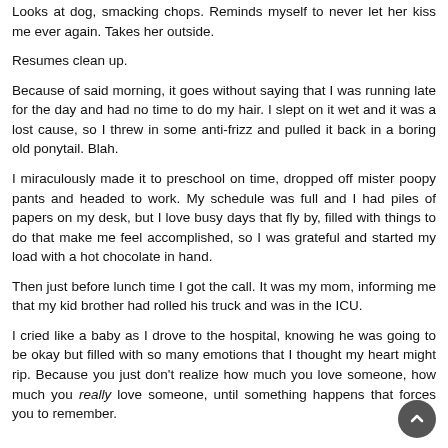Looks at dog, smacking chops. Reminds myself to never let her kiss me ever again. Takes her outside.
Resumes clean up.
Because of said morning, it goes without saying that I was running late for the day and had no time to do my hair. I slept on it wet and it was a lost cause, so I threw in some anti-frizz and pulled it back in a boring old ponytail. Blah.
I miraculously made it to preschool on time, dropped off mister poopy pants and headed to work. My schedule was full and I had piles of papers on my desk, but I love busy days that fly by, filled with things to do that make me feel accomplished, so I was grateful and started my load with a hot chocolate in hand.
Then just before lunch time I got the call. It was my mom, informing me that my kid brother had rolled his truck and was in the ICU.
I cried like a baby as I drove to the hospital, knowing he was going to be okay but filled with so many emotions that I thought my heart might rip. Because you just don't realize how much you love someone, how much you really love someone, until something happens that forces you to remember.